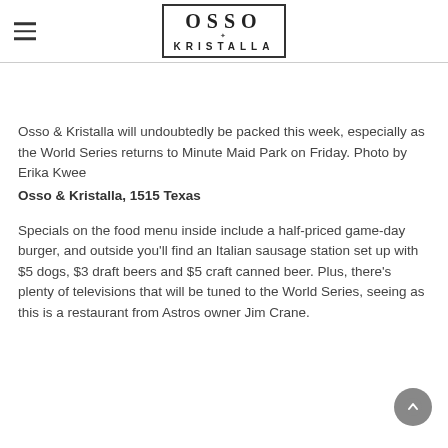OSSO KRISTALLA
Osso & Kristalla will undoubtedly be packed this week, especially as the World Series returns to Minute Maid Park on Friday. Photo by Erika Kwee
Osso & Kristalla, 1515 Texas
Specials on the food menu inside include a half-priced game-day burger, and outside you'll find an Italian sausage station set up with $5 dogs, $3 draft beers and $5 craft canned beer. Plus, there's plenty of televisions that will be tuned to the World Series, seeing as this is a restaurant from Astros owner Jim Crane.